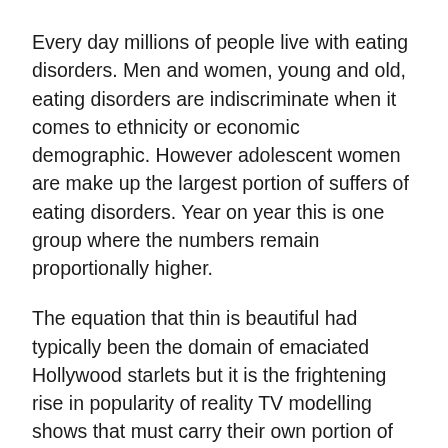Every day millions of people live with eating disorders. Men and women, young and old, eating disorders are indiscriminate when it comes to ethnicity or economic demographic. However adolescent women are make up the largest portion of suffers of eating disorders. Year on year this is one group where the numbers remain proportionally higher.
The equation that thin is beautiful had typically been the domain of emaciated Hollywood starlets but it is the frightening rise in popularity of reality TV modelling shows that must carry their own portion of responsibility today. The ratings for these shows are worryingly high, especially given how barbaric they are in their treatment of vulnerable young girls.
It seems that...